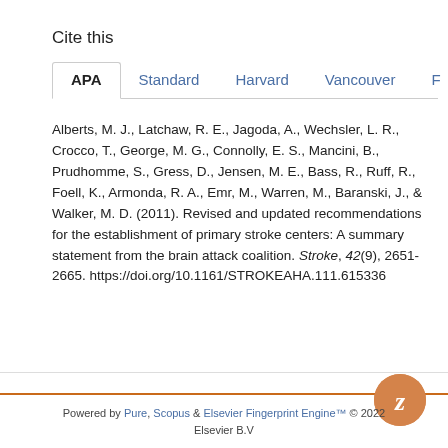Cite this
APA | Standard | Harvard | Vancouver | F
Alberts, M. J., Latchaw, R. E., Jagoda, A., Wechsler, L. R., Crocco, T., George, M. G., Connolly, E. S., Mancini, B., Prudhomme, S., Gress, D., Jensen, M. E., Bass, R., Ruff, R., Foell, K., Armonda, R. A., Emr, M., Warren, M., Baranski, J., & Walker, M. D. (2011). Revised and updated recommendations for the establishment of primary stroke centers: A summary statement from the brain attack coalition. Stroke, 42(9), 2651-2665. https://doi.org/10.1161/STROKEAHA.111.615336
[Figure (logo): Zotero Z button logo in orange circle]
Powered by Pure, Scopus & Elsevier Fingerprint Engine™ © 2022 Elsevier B.V